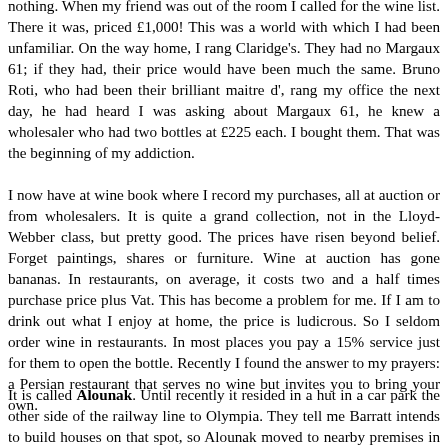nothing. When my friend was out of the room I called for the wine list. There it was, priced £1,000! This was a world with which I had been unfamiliar. On the way home, I rang Claridge's. They had no Margaux 61; if they had, their price would have been much the same. Bruno Roti, who had been their brilliant maitre d', rang my office the next day, he had heard I was asking about Margaux 61, he knew a wholesaler who had two bottles at £225 each. I bought them. That was the beginning of my addiction.
I now have at wine book where I record my purchases, all at auction or from wholesalers. It is quite a grand collection, not in the Lloyd-Webber class, but pretty good. The prices have risen beyond belief. Forget paintings, shares or furniture. Wine at auction has gone bananas. In restaurants, on average, it costs two and a half times purchase price plus Vat. This has become a problem for me. If I am to drink out what I enjoy at home, the price is ludicrous. So I seldom order wine in restaurants. In most places you pay a 15% service just for them to open the bottle. Recently I found the answer to my prayers: a Persian restaurant that serves no wine but invites you to bring your own.
It is called Alounak. Until recently it resided in a hut in a car park the other side of the railway line to Olympia. They tell me Barratt intends to build houses on that spot, so Alounak moved to nearby premises in Russell Gardens, for years called Oliver's